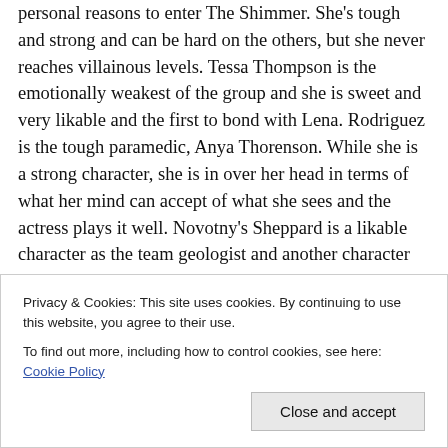personal reasons to enter The Shimmer. She's tough and strong and can be hard on the others, but she never reaches villainous levels. Tessa Thompson is the emotionally weakest of the group and she is sweet and very likable and the first to bond with Lena. Rodriguez is the tough paramedic, Anya Thorenson. While she is a strong character, she is in over her head in terms of what her mind can accept of what she sees and the actress plays it well. Novotny's Sheppard is a likable character as the team geologist and another character that bonds with
Privacy & Cookies: This site uses cookies. By continuing to use this website, you agree to their use.
To find out more, including how to control cookies, see here: Cookie Policy
Close and accept